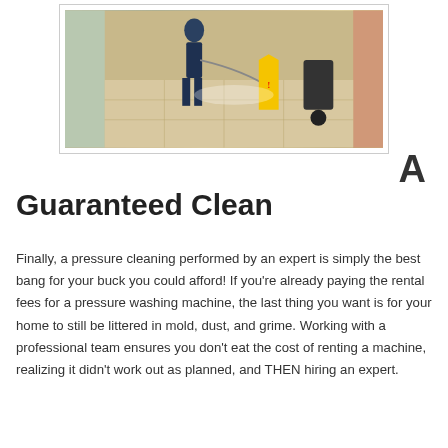[Figure (photo): Commercial cleaning workers pressure washing a floor in a corridor. A yellow wet floor caution sign is visible in the foreground.]
A
Guaranteed Clean
Finally, a pressure cleaning performed by an expert is simply the best bang for your buck you could afford! If you're already paying the rental fees for a pressure washing machine, the last thing you want is for your home to still be littered in mold, dust, and grime. Working with a professional team ensures you don't eat the cost of renting a machine, realizing it didn't work out as planned, and THEN hiring an expert.